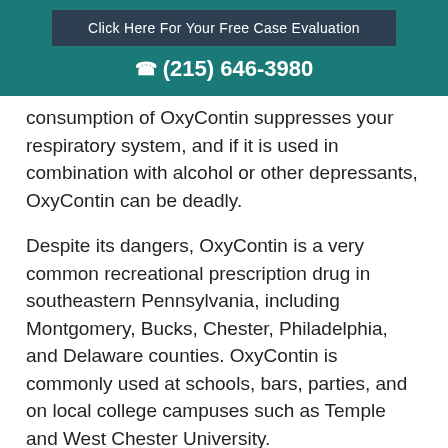Click Here For Your Free Case Evaluation
(215) 646-3980
consumption of OxyContin suppresses your respiratory system, and if it is used in combination with alcohol or other depressants, OxyContin can be deadly.
Despite its dangers, OxyContin is a very common recreational prescription drug in southeastern Pennsylvania, including Montgomery, Bucks, Chester, Philadelphia, and Delaware counties. OxyContin is commonly used at schools, bars, parties, and on local college campuses such as Temple and West Chester University.